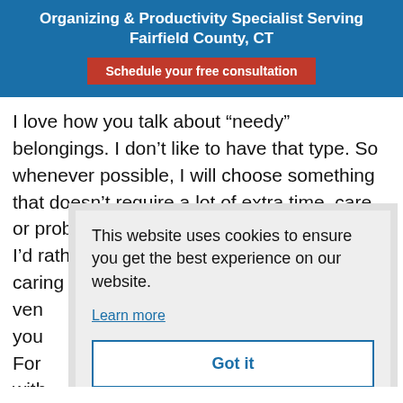Organizing & Productivity Specialist Serving Fairfield County, CT
Schedule your free consultation
I love how you talk about “needy” belongings. I don’t like to have that type. So whenever possible, I will choose something that doesn’t require a lot of extra time, care, or problematic storage. And that’s because I’d rather live life than spend all my time caring for the stu... ven... you... For ... with... ther... this case, the joy factor outweighs the time I spend
This website uses cookies to ensure you get the best experience on our website.
Learn more
Got it